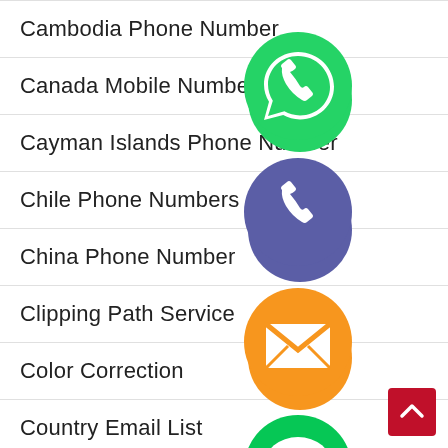Cambodia Phone Number
Canada Mobile Number
Cayman Islands Phone Number
Chile Phone Numbers
China Phone Number
Clipping Path Service
Color Correction
Country Email List
Denmark Phone Number
[Figure (infographic): Floating social media / messaging app icons (WhatsApp green, Viber/phone purple, email orange, LINE green, Viber purple, close green) arranged vertically on the right side of the list]